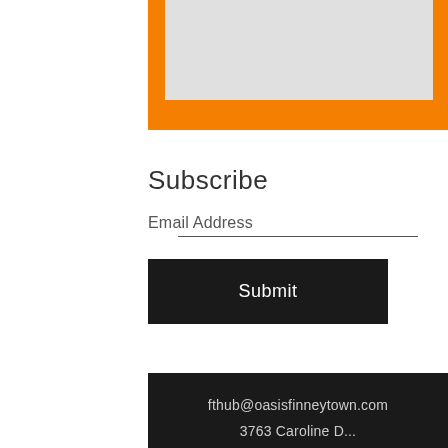[Figure (other): Orange background block with light gray inner box at top of page, representing a UI widget or image placeholder]
Subscribe
Email Address
Submit
fthub@oasisfinneytown.com